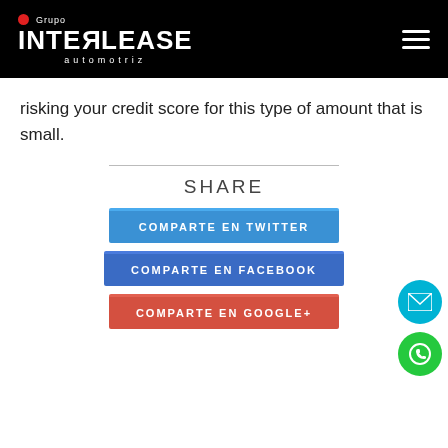Grupo INTERLEASE automotriz
risking your credit score for this type of amount that is small.
SHARE
COMPARTE EN TWITTER
COMPARTE EN FACEBOOK
COMPARTE EN GOOGLE+